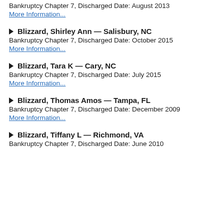Bankruptcy Chapter 7, Discharged Date: August 2013
More Information...
▷ Blizzard, Shirley Ann — Salisbury, NC
Bankruptcy Chapter 7, Discharged Date: October 2015
More Information...
▷ Blizzard, Tara K — Cary, NC
Bankruptcy Chapter 7, Discharged Date: July 2015
More Information...
▷ Blizzard, Thomas Amos — Tampa, FL
Bankruptcy Chapter 7, Discharged Date: December 2009
More Information...
▷ Blizzard, Tiffany L — Richmond, VA
Bankruptcy Chapter 7, Discharged Date: June 2010